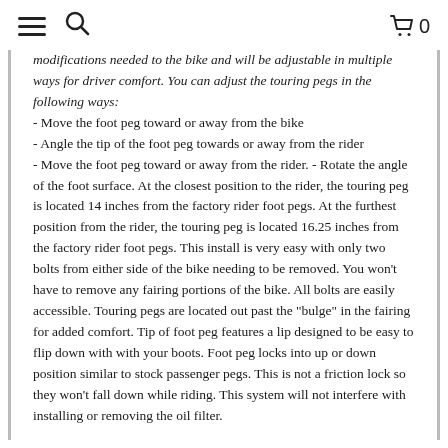≡  🔍   🛒 0
modifications needed to the bike and will be adjustable in multiple ways for driver comfort. You can adjust the touring pegs in the following ways:
- Move the foot peg toward or away from the bike
- Angle the tip of the foot peg towards or away from the rider
- Move the foot peg toward or away from the rider. - Rotate the angle of the foot surface. At the closest position to the rider, the touring peg is located 14 inches from the factory rider foot pegs. At the furthest position from the rider, the touring peg is located 16.25 inches from the factory rider foot pegs. This install is very easy with only two bolts from either side of the bike needing to be removed. You won't have to remove any fairing portions of the bike. All bolts are easily accessible. Touring pegs are located out past the "bulge" in the fairing for added comfort. Tip of foot peg features a lip designed to be easy to flip down with with your boots. Foot peg locks into up or down position similar to stock passenger pegs. This is not a friction lock so they won't fall down while riding. This system will not interfere with installing or removing the oil filter.